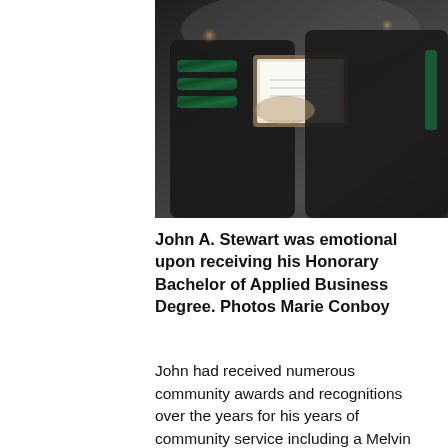[Figure (photo): Two people in black graduation gowns, one with green academic hood stripes, exchanging or holding a framed diploma/certificate. Indoor ceremony setting.]
John A. Stewart was emotional upon receiving his Honorary Bachelor of Applied Business Degree. Photos Marie Conboy
John had received numerous community awards and recognitions over the years for his years of community service including a Melvin Jones Fellowship. He was a member of the Kinsmen Club and a long time member of the Vermilion Agricultural Society.
In his speech, Doug encouraged